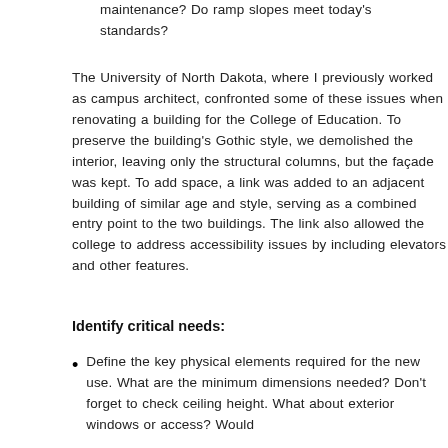maintenance? Do ramp slopes meet today's standards?
The University of North Dakota, where I previously worked as campus architect, confronted some of these issues when renovating a building for the College of Education. To preserve the building's Gothic style, we demolished the interior, leaving only the structural columns, but the façade was kept. To add space, a link was added to an adjacent building of similar age and style, serving as a combined entry point to the two buildings. The link also allowed the college to address accessibility issues by including elevators and other features.
Identify critical needs:
Define the key physical elements required for the new use. What are the minimum dimensions needed? Don't forget to check ceiling height. What about exterior windows or access? Would